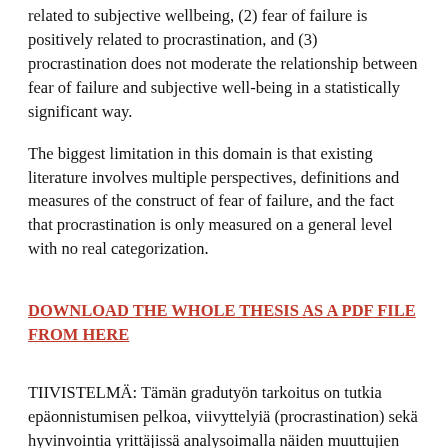related to subjective wellbeing, (2) fear of failure is positively related to procrastination, and (3) procrastination does not moderate the relationship between fear of failure and subjective well-being in a statistically significant way.
The biggest limitation in this domain is that existing literature involves multiple perspectives, definitions and measures of the construct of fear of failure, and the fact that procrastination is only measured on a general level with no real categorization.
DOWNLOAD THE WHOLE THESIS AS A PDF FILE FROM HERE
TIIVISTELMÄ: Tämän gradutyön tarkoitus on tutkia epäonnistumisen pelkoa, viivyttelyä (procrastination) sekä hyvinvointia yrittäjissä analysoimalla näiden muuttujien keskenäisiä suhteita kvantitatiivisesti. Työ keskittyy (1) määrittelemällä epäonnistumisen pelon ja